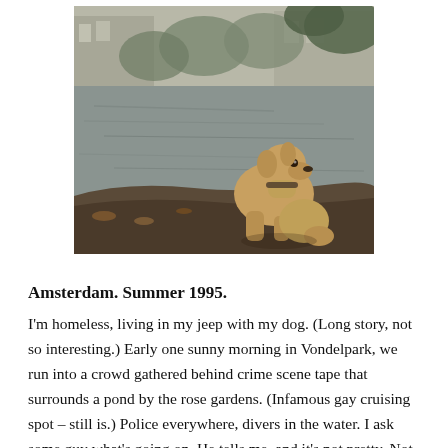[Figure (photo): A golden Labrador dog sitting on a rock or ledge, gazing at a pond or lake. Houses and trees visible in the background. Vintage color photograph, somewhat desaturated. Vondelpark, Amsterdam, Summer 1995.]
Amsterdam. Summer 1995.
I'm homeless, living in my jeep with my dog. (Long story, not so interesting.) Early one sunny morning in Vondelpark, we run into a crowd gathered behind crime scene tape that surrounds a pond by the rose gardens. (Infamous gay cruising spot – still is.) Police everywhere, divers in the water. I ask some guy what's going on. He tells me, and it's not pretty. Not first thing in the morning,